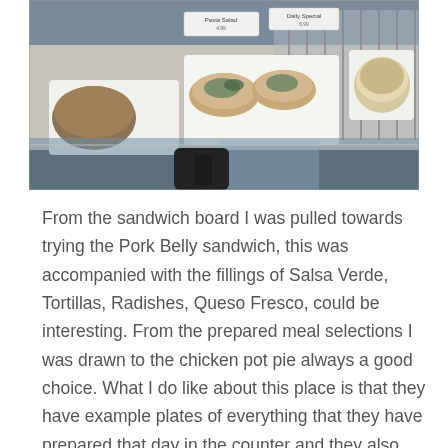[Figure (photo): Photo of a food display counter showing various prepared dishes on plates including what appears to be soups, tacos/flatbreads, and a pie or sandwich on white plates under glass display case. Menu signs are visible in the background.]
From the sandwich board I was pulled towards trying the Pork Belly sandwich, this was accompanied with the fillings of Salsa Verde, Tortillas, Radishes, Queso Fresco, could be interesting. From the prepared meal selections I was drawn to the chicken pot pie always a good choice. What I do like about this place is that they have example plates of everything that they have prepared that day in the counter and they also advise you how to heat them up as well. The daily menu